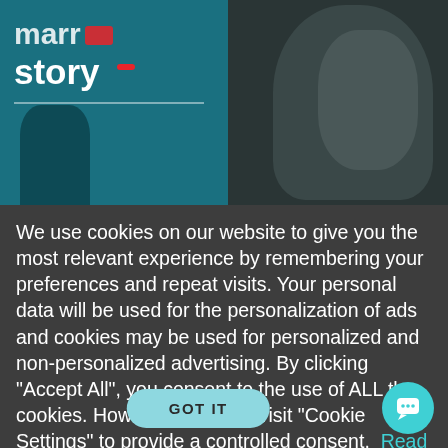[Figure (screenshot): Partial website screenshot showing a teal/dark background with white bold text 'story' and a red badge, with silhouetted figures in the background]
We use cookies on our website to give you the most relevant experience by remembering your preferences and repeat visits. Your personal data will be used for the personalization of ads and cookies may be used for personalized and non-personalized advertising. By clicking “Accept All”, you consent to the use of ALL the cookies. However, you may visit “Cookie Settings” to provide a controlled consent.  Read our cookies policy here
GOT IT